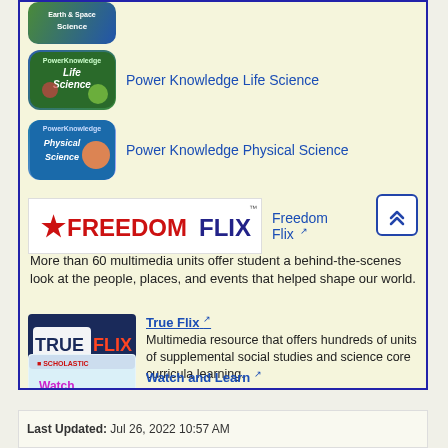[Figure (logo): Power Knowledge Earth Space Science logo thumbnail]
[Figure (logo): Power Knowledge Life Science logo thumbnail]
Power Knowledge Life Science
[Figure (logo): Power Knowledge Physical Science logo thumbnail]
Power Knowledge Physical Science
[Figure (logo): Freedom Flix banner logo]
Freedom Flix
More than 60 multimedia units offer student a behind-the-scenes look at the people, places, and events that helped shape our world.
[Figure (logo): True Flix logo]
True Flix
Multimedia resource that offers hundreds of units of supplemental social studies and science core curricula learning.
[Figure (logo): Scholastic Watch and Learn Library logo]
Watch and Learn
Video library for early learners.
Last Updated: Jul 26, 2022 10:57 AM